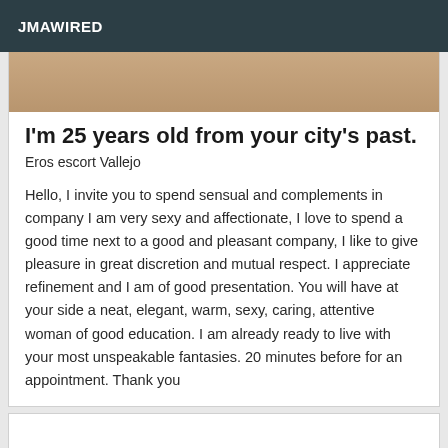JMAWIRED
[Figure (photo): Cropped photo showing partial body, brownish skin tone against light background]
I'm 25 years old from your city's past.
Eros escort Vallejo
Hello, I invite you to spend sensual and complements in company I am very sexy and affectionate, I love to spend a good time next to a good and pleasant company, I like to give pleasure in great discretion and mutual respect. I appreciate refinement and I am of good presentation. You will have at your side a neat, elegant, warm, sexy, caring, attentive woman of good education. I am already ready to live with your most unspeakable fantasies. 20 minutes before for an appointment. Thank you